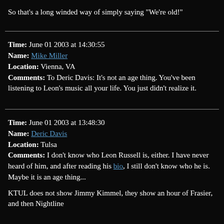So that's a long winded way of simply saying "We're old!"
Time: June 01 2003 at 14:30:55
Name: Mike Miller
Location: Vienna, VA
Comments: To Deric Davis: It's not an age thing. You've been listening to Leon's music all your life. You just didn't realize it.
Time: June 01 2003 at 13:48:30
Name: Deric Davis
Location: Tulsa
Comments: I don't know who Leon Russell is, either. I have never heard of him, and after reading his bio, I still don't know who he is. Maybe it is an age thing...

KTUL does not show Jimmy Kimmel, they show an hour of Frasier, and then Nightline